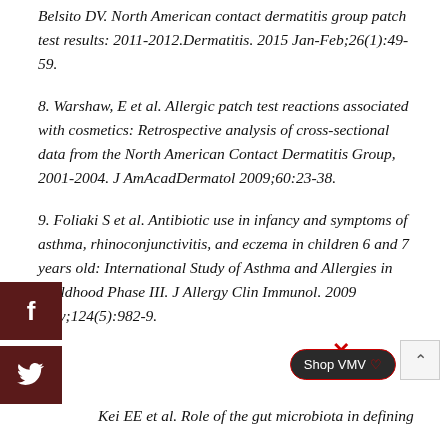Belsito DV. North American contact dermatitis group patch test results: 2011-2012.Dermatitis. 2015 Jan-Feb;26(1):49-59.
8. Warshaw, E et al. Allergic patch test reactions associated with cosmetics: Retrospective analysis of cross-sectional data from the North American Contact Dermatitis Group, 2001-2004. J AmAcadDermatol 2009;60:23-38.
9. Foliaki S et al. Antibiotic use in infancy and symptoms of asthma, rhinoconjunctivitis, and eczema in children 6 and 7 years old: International Study of Asthma and Allergies in Childhood Phase III. J Allergy Clin Immunol. 2009 May;124(5):982-9.
Kei EE et al. Role of the gut microbiota in defining...